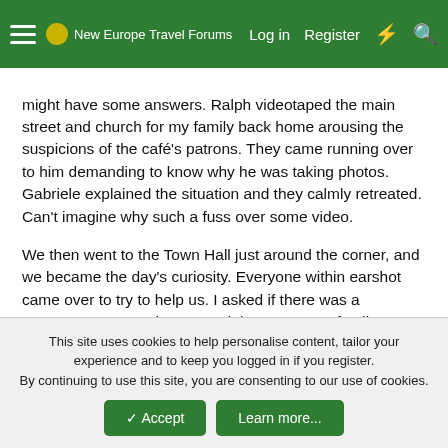New Europe Travel Forums — Log in | Register
might have some answers. Ralph videotaped the main street and church for my family back home arousing the suspicions of the café's patrons. They came running over to him demanding to know why he was taking photos. Gabriele explained the situation and they calmly retreated. Can't imagine why such a fuss over some video.
We then went to the Town Hall just around the corner, and we became the day's curiosity. Everyone within earshot came over to try to help us. I asked if there was a computer system where we might access our family records but unfortunately for us, and this being Italy, the computer person was on strike that day!
By now, the carabenieri were even interested in us and stopped by to help. One of the man thought he knew of two people in the
This site uses cookies to help personalise content, tailor your experience and to keep you logged in if you register.
By continuing to use this site, you are consenting to our use of cookies.